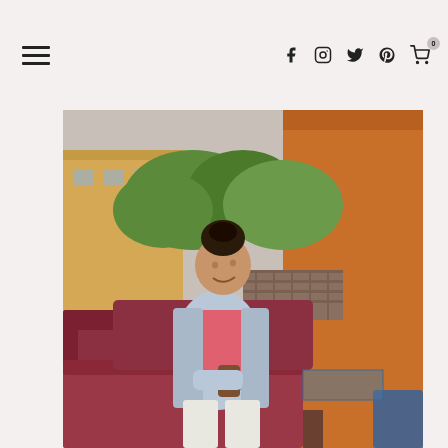Navigation header with hamburger menu and social icons (Facebook, Instagram, Twitter, Pinterest, Cart with badge 0)
[Figure (photo): Young woman with hair in a bun, wearing a light blue denim jacket over a pink patterned top and white ripped jeans, sitting on an outdoor red cushioned sofa holding a coffee cup, smiling downward, with green trees, stone wall, and building in background]